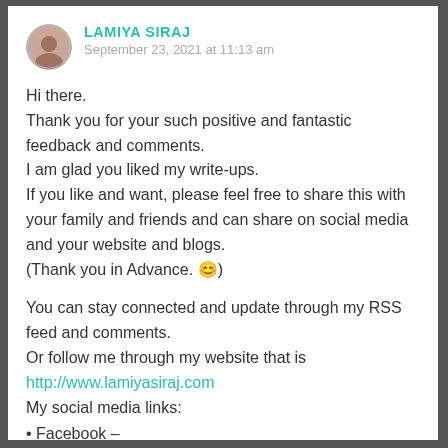LAMIYA SIRAJ
September 23, 2021 at 11:13 am
Hi there.
Thank you for your such positive and fantastic feedback and comments.
I am glad you liked my write-ups.
If you like and want, please feel free to share this with your family and friends and can share on social media and your website and blogs.
(Thank you in Advance. 😊)
You can stay connected and update through my RSS feed and comments.
Or follow me through my website that is
http://www.lamiyasiraj.com
My social media links:
• Facebook –